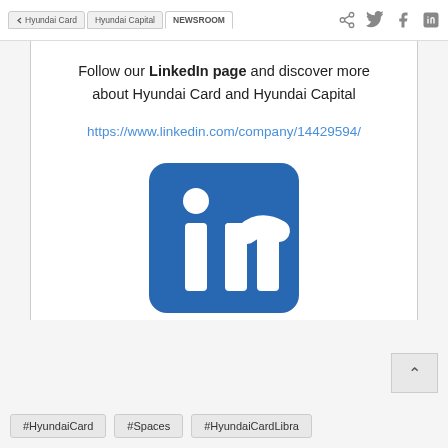Hyundai Card | Hyundai Capital | NEWSROOM
Follow our LinkedIn page and discover more about Hyundai Card and Hyundai Capital
https://www.linkedin.com/company/14429594/
[Figure (logo): LinkedIn logo — white 'in' text on a blue rounded-square background]
#HyundaiCard   #Spaces   #HyundaiCardLibra